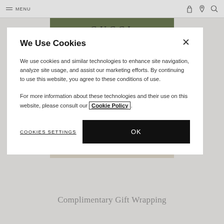MENU | GUCCI | [icons]
[Figure (screenshot): Gucci website background showing green banner with GUCCI logo text and a gift box image on beige background]
We Use Cookies
We use cookies and similar technologies to enhance site navigation, analyze site usage, and assist our marketing efforts. By continuing to use this website, you agree to these conditions of use.
For more information about these technologies and their use on this website, please consult our Cookie Policy.
COOKIES SETTINGS
OK
Complimentary Gift Wrapping